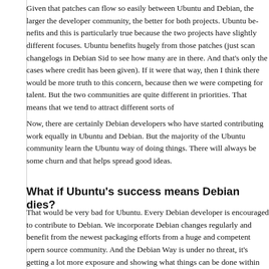Given that patches can flow so easily between Ubuntu and Debian, the larger the developer community, the better for both projects. Ubuntu benefits and this is particularly true because the two projects have slightly different focuses. Ubuntu benefits hugely from those patches (just scan changelogs in Debian Sid to see how many are in there. And that's only the cases where credit has been given). If it were that way, then I think there would be more truth to this concern, because then we were competing for talent. But the two communities are quite different in priorities. That means that we tend to attract different sorts of
Now, there are certainly Debian developers who have started contributing work equally in Ubuntu and Debian. But the majority of the Ubuntu community work in the Ubuntu way of doing things. There will always be some churn and that helps spread good ideas.
What if Ubuntu's success means Debian dies?
That would be very bad for Ubuntu. Every Debian developer is encouraged to contribute to Debian. We incorporate Debian changes regularly and benefit from the newest packaging efforts from a huge and competent open source community. And the Debian Way is under no threat, it's getting a lot more exposure and showing what things can be done within that community.
Why is Ubuntu not part of the DCC Alliance?
I don't believe the DCC will succeed, though its aims are lofty,